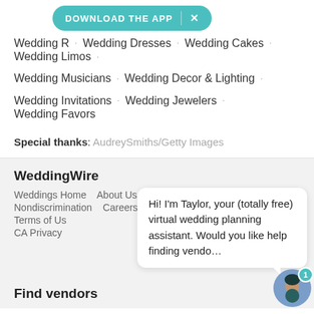[Figure (screenshot): Download the App banner in teal/green color with X close button]
Wedding R... · Wedding Dresses · Wedding Cakes · Wedding Limos ·
Wedding Musicians · Wedding Decor & Lighting ·
Wedding Invitations · Wedding Jewelers · Wedding Favors
Special thanks: AudreySmiths/Getty Images
WeddingWire
Weddings Home   About Us   Editorial Team & Policies
Nondiscrimination   Careers   Press Center   Advertising
Terms of Us...
CA Privacy...
[Figure (illustration): Chat bubble with Taylor virtual assistant: Hi! I'm Taylor, your (totally free) virtual wedding planning assistant. Would you like help finding vendo... with avatar icon and badge 1]
Find vendors